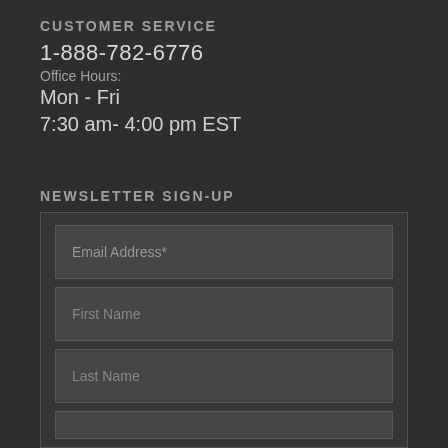CUSTOMER SERVICE
1-888-782-6776
Office Hours:
Mon - Fri
7:30 am- 4:00 pm EST
NEWSLETTER SIGN-UP
[Figure (other): Newsletter sign-up form with fields for Email Address*, First Name, Last Name, and a partially visible fourth field]